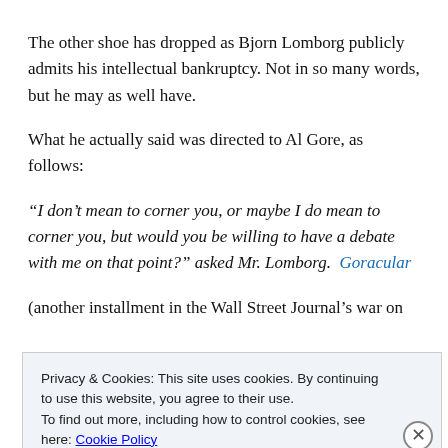The other shoe has dropped as Bjorn Lomborg publicly admits his intellectual bankruptcy. Not in so many words, but he may as well have.
What he actually said was directed to Al Gore, as follows:
“I don’t mean to corner you, or maybe I do mean to corner you, but would you be willing to have a debate with me on that point?” asked Mr. Lomborg.  Goracular
(another installment in the Wall Street Journal’s war on
Privacy & Cookies: This site uses cookies. By continuing to use this website, you agree to their use.
To find out more, including how to control cookies, see here: Cookie Policy
Close and accept